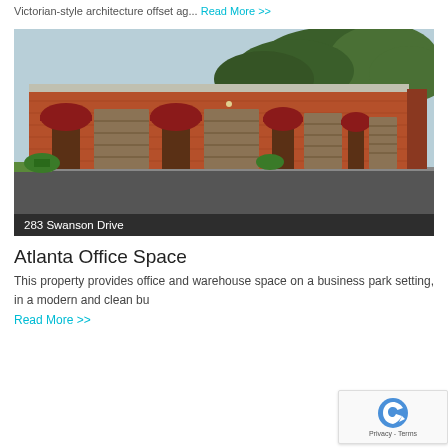Victorian-style architecture offset ag... Read More >>
[Figure (photo): Exterior photo of a brick commercial building with red awnings and garage doors at 283 Swanson Drive]
283 Swanson Drive
Atlanta Office Space
This property provides office and warehouse space on a business park setting, in a modern and clean bu...
Read More >>